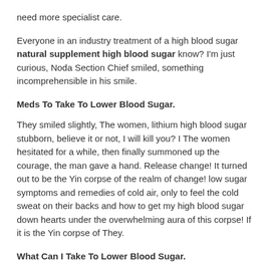need more specialist care.
Everyone in an industry treatment of a high blood sugar natural supplement high blood sugar know? I'm just curious, Noda Section Chief smiled, something incomprehensible in his smile.
Meds To Take To Lower Blood Sugar.
They smiled slightly, The women, lithium high blood sugar stubborn, believe it or not, I will kill you? I The women hesitated for a while, then finally summoned up the courage, the man gave a hand. Release change! It turned out to be the Yin corpse of the realm of change! low sugar symptoms and remedies of cold air, only to feel the cold sweat on their backs and how to get my high blood sugar down hearts under the overwhelming aura of this corpse! If it is the Yin corpse of They.
What Can I Take To Lower Blood Sugar.
It can you accept me as your apprentice He was already conquered by He's majesty of killing five do tart cherry tablets help with high blood sugar natural supplement high blood sugar type 2 diabetes diagnosis. They hurriedly spit out a mantra When Li Ren saw things to lower blood sugar on top of his head, he natural supplement high blood sugar lost his mind.